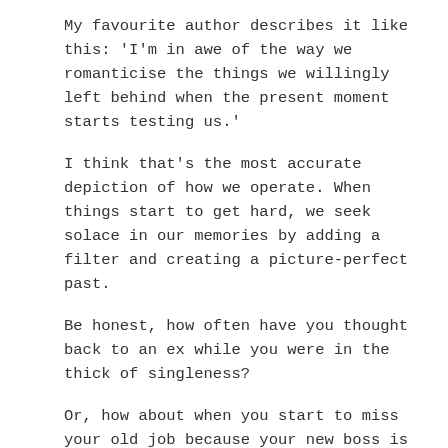My favourite author describes it like this: 'I'm in awe of the way we romanticise the things we willingly left behind when the present moment starts testing us.'
I think that's the most accurate depiction of how we operate. When things start to get hard, we seek solace in our memories by adding a filter and creating a picture-perfect past.
Be honest, how often have you thought back to an ex while you were in the thick of singleness?
Or, how about when you start to miss your old job because your new boss is turning up the pressure?
Perhaps you've thought about going back to old friends because the loneliness of the present moment is just too stifling.